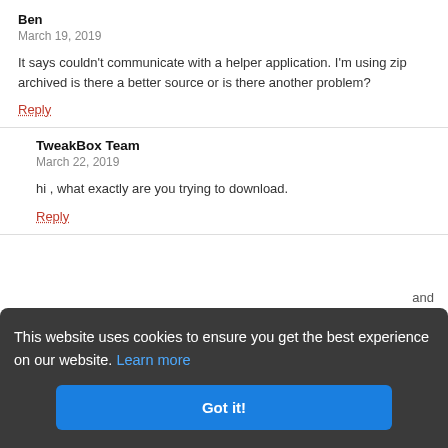Ben
March 19, 2019
It says couldn't communicate with a helper application. I'm using zip archived is there a better source or is there another problem?
Reply
TweakBox Team
March 22, 2019
hi , what exactly are you trying to download.
Reply
This website uses cookies to ensure you get the best experience on our website. Learn more
Got it!
TweakBox Team
March 22, 2019